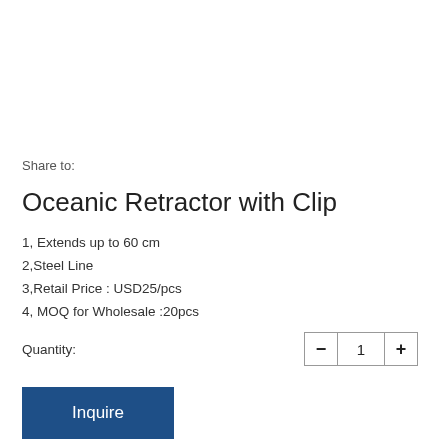Share to:
Oceanic Retractor with Clip
1, Extends up to 60 cm
2,Steel Line
3,Retail Price : USD25/pcs
4, MOQ for Wholesale :20pcs
Quantity: — 1 +
Inquire